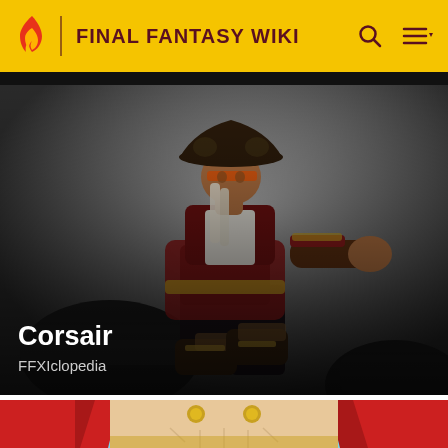FINAL FANTASY WIKI
[Figure (screenshot): Final Fantasy XI Corsair character render — a pirate-themed character in a wide stance wearing a tricorn hat, white braids, and a red coat, posed in front of large cannons against a grey gradient background. Text overlay reads 'Corsair' and 'FFXIclopedia'.]
[Figure (illustration): Anime-style illustration of a character's torso in a red coat open at the chest, wearing gold buttons, against a light blue background — partially visible at the bottom of the page.]